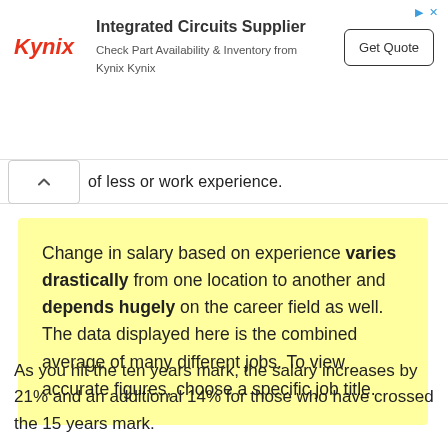[Figure (infographic): Kynix Integrated Circuits Supplier advertisement banner with logo, text, and Get Quote button]
of less or work experience.
Change in salary based on experience varies drastically from one location to another and depends hugely on the career field as well. The data displayed here is the combined average of many different jobs. To view accurate figures, choose a specific job title.
As you hit the ten years mark, the salary increases by 21% and an additional 14% for those who have crossed the 15 years mark.